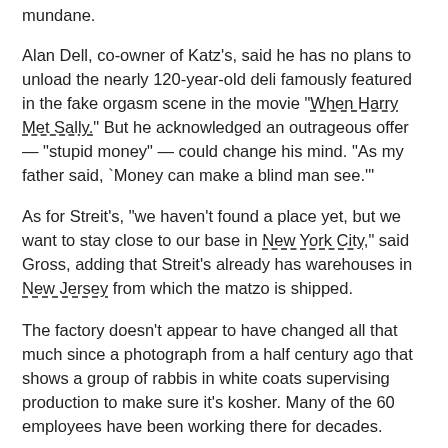mundane.
Alan Dell, co-owner of Katz's, said he has no plans to unload the nearly 120-year-old deli famously featured in the fake orgasm scene in the movie "When Harry Met Sally." But he acknowledged an outrageous offer — "stupid money" — could change his mind. "As my father said, `Money can make a blind man see.'"
As for Streit's, "we haven't found a place yet, but we want to stay close to our base in New York City," said Gross, adding that Streit's already has warehouses in New Jersey from which the matzo is shipped.
The factory doesn't appear to have changed all that much since a photograph from a half century ago that shows a group of rabbis in white coats supervising production to make sure it's kosher. Many of the 60 employees have been working there for decades.
Streit's has tens of millions of dollars in annual sales and about 40 percent of the U.S. matzo market. Its chief competitor is Manischewitz.